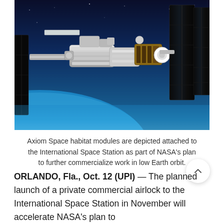[Figure (photo): Artistic rendering of Axiom Space habitat modules attached to the International Space Station in low Earth orbit, viewed from space with Earth's blue atmosphere visible in the background.]
Axiom Space habitat modules are depicted attached to the International Space Station as part of NASA's plan to further commercialize work in low Earth orbit.
ORLANDO, Fla., Oct. 12 (UPI) — The planned launch of a private commercial airlock to the International Space Station in November will accelerate NASA's plan to